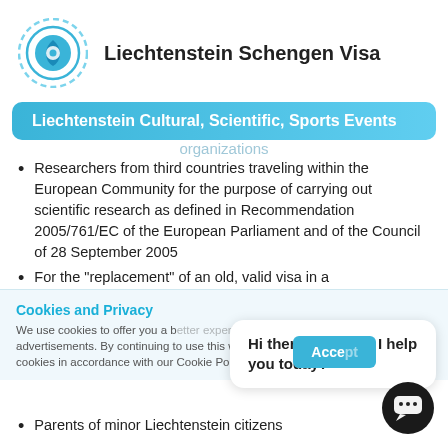Liechtenstein Schengen Visa
Liechtenstein Cultural, Scientific, Sports Events organizations
Researchers from third countries traveling within the European Community for the purpose of carrying out scientific research as defined in Recommendation 2005/761/EC of the European Parliament and of the Council of 28 September 2005
For the “replacement” of an old, valid visa in a
Cookies and Privacy
We use cookies to offer you a better experience and to serve targeted advertisements. By continuing to use this website, you consent to the use of cookies in accordance with our Cookie Policy
Hi there. How can I help you today?
Parents of minor Liechtenstein citizens